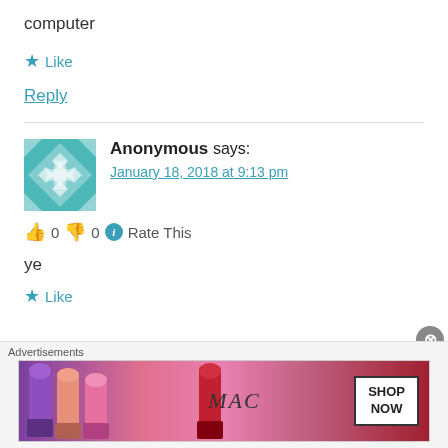computer
★ Like
Reply
Anonymous says:
January 18, 2018 at 9:13 pm
👍 0 👎 0 ℹ Rate This
ye
★ Like
[Figure (illustration): Teal/green geometric quilt-pattern avatar for Anonymous commenter]
[Figure (illustration): MAC cosmetics advertisement banner showing lipsticks with SHOP NOW button]
Advertisements